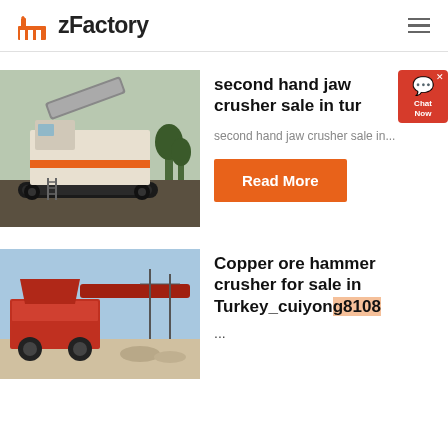zFactory
[Figure (photo): Mobile jaw crusher machine on tracks at a construction/quarry site, heavy industrial equipment with orange accents]
second hand jaw crusher sale in turkey
second hand jaw crusher sale in...
Read More
[Figure (photo): Red copper ore hammer crusher machine at an outdoor industrial site with blue sky in background]
Copper ore hammer crusher for sale in Turkey_cuiyong8108
...